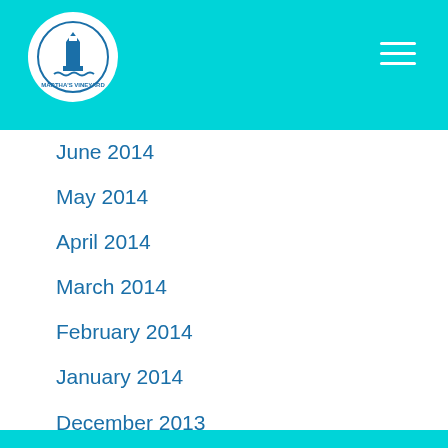Martha's Vineyard Chamber of Commerce
June 2014
May 2014
April 2014
March 2014
February 2014
January 2014
December 2013
CATEGORIES
All